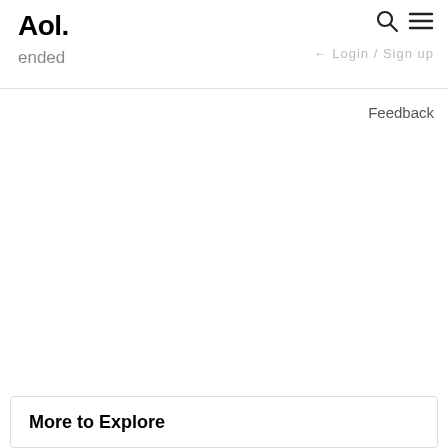Aol.
ended
Login / Sign up
Feedback
More to Explore